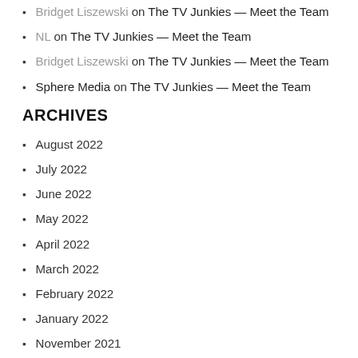Bridget Liszewski on The TV Junkies — Meet the Team
NL on The TV Junkies — Meet the Team
Bridget Liszewski on The TV Junkies — Meet the Team
Sphere Media on The TV Junkies — Meet the Team
ARCHIVES
August 2022
July 2022
June 2022
May 2022
April 2022
March 2022
February 2022
January 2022
November 2021
October 2021
September 2021